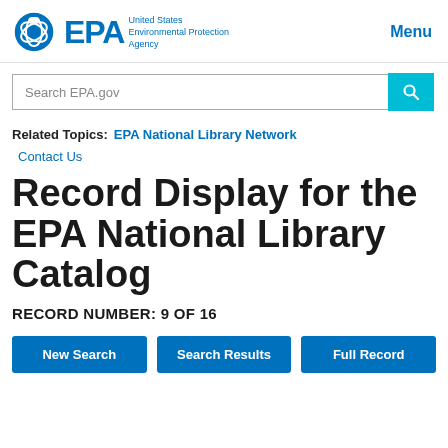EPA — United States Environmental Protection Agency | Menu
Search EPA.gov
Related Topics: EPA National Library Network
Contact Us
Record Display for the EPA National Library Catalog
RECORD NUMBER: 9 OF 16
New Search | Search Results | Full Record